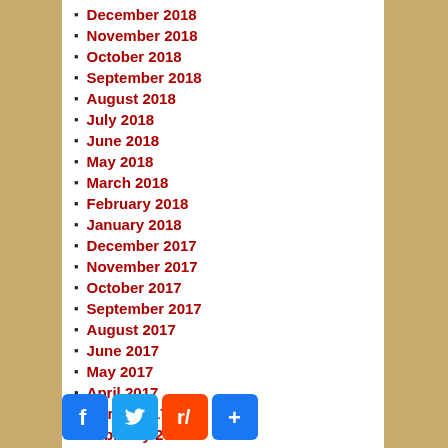December 2018
November 2018
October 2018
September 2018
August 2018
July 2018
June 2018
May 2018
March 2018
February 2018
January 2018
December 2017
November 2017
October 2017
September 2017
August 2017
June 2017
May 2017
April 2017
March 2017
February 2017